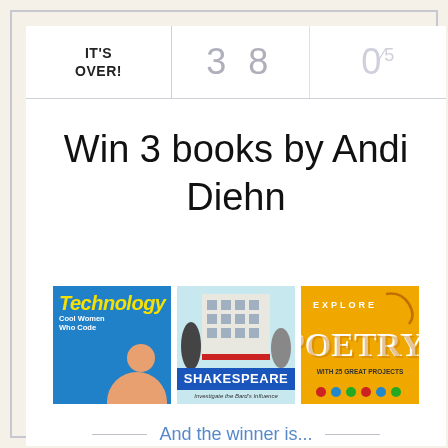IT'S OVER! | 3 8 | 0/5
Win 3 books by Andi Diehn
[Figure (photo): Three book covers by Andi Diehn: Technology (Cool Women Who Code), Shakespeare (Investigate the Bard's Influence), and Explore Poetry! (With 25 Great Projects)]
And the winner is...
Tanya C.